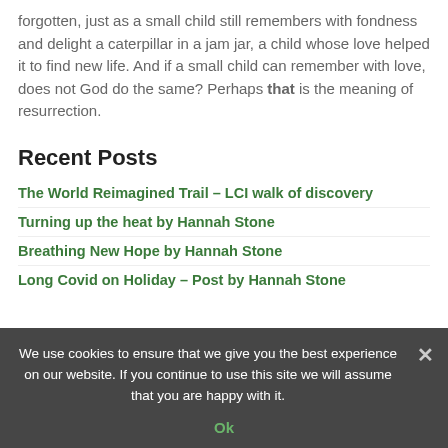forgotten, just as a small child still remembers with fondness and delight a caterpillar in a jam jar, a child whose love helped it to find new life. And if a small child can remember with love, does not God do the same? Perhaps that is the meaning of resurrection.
Recent Posts
The World Reimagined Trail – LCI walk of discovery
Turning up the heat by Hannah Stone
Breathing New Hope by Hannah Stone
Long Covid on Holiday – Post by Hannah Stone
We use cookies to ensure that we give you the best experience on our website. If you continue to use this site we will assume that you are happy with it.
Ok